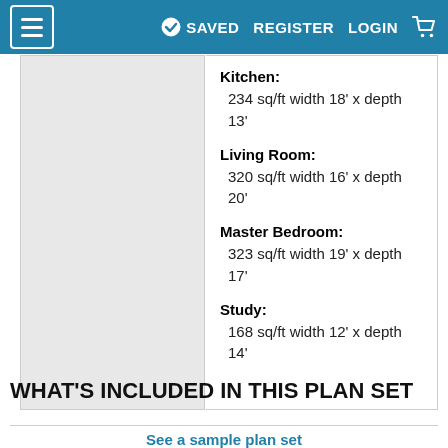≡ SAVED  REGISTER  LOGIN  🛒
[Figure (other): Gray placeholder rectangle representing a floor plan image]
Kitchen: 234 sq/ft width 18' x depth 13'
Living Room: 320 sq/ft width 16' x depth 20'
Master Bedroom: 323 sq/ft width 19' x depth 17'
Study: 168 sq/ft width 12' x depth 14'
WHAT'S INCLUDED IN THIS PLAN SET
See a sample plan set